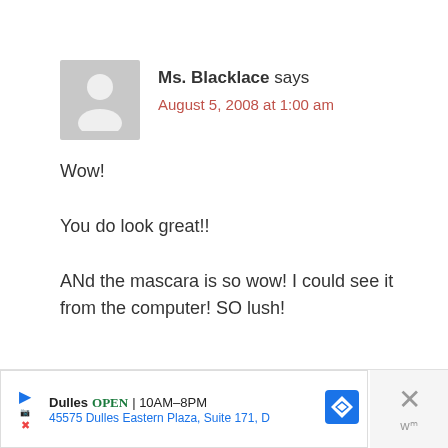Ms. Blacklace says
August 5, 2008 at 1:00 am
Wow!
You do look great!!
ANd the mascara is so wow! I could see it from the computer! SO lush!
Dulles OPEN | 10AM–8PM 45575 Dulles Eastern Plaza, Suite 171, D